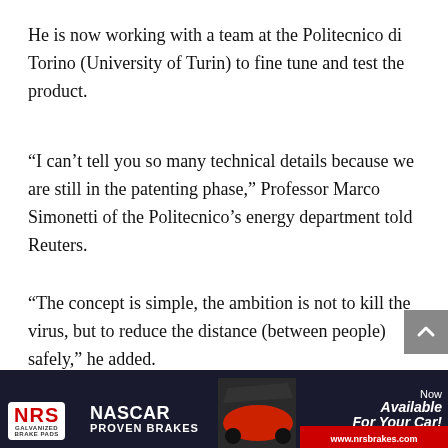He is now working with a team at the Politecnico di Torino (University of Turin) to fine tune and test the product.
“I can’t tell you so many technical details because we are still in the patenting phase,” Professor Marco Simonetti of the Politecnico’s energy department told Reuters.
“The concept is simple, the ambition is not to kill the virus, but to reduce the distance (between people) safely,” he added.
The Biostopper was initially designed to allow,
[Figure (screenshot): NRS Galvanized Brake Pads advertisement banner featuring NASCAR Proven Brakes logo, a racing car image, and text 'Now Available For Your Car!' with website www.nrsbrakes.com on a red bar]